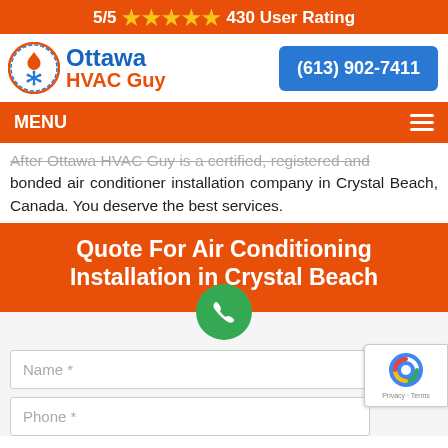5/5 ★★★★★ 430 User Rating
[Figure (logo): Ottawa HVAC Guy logo with flame/snowflake icon in orange circle]
(613) 902-7411
MENU
After Ottawa HVAC Guy is a certified, registered and bonded air conditioner installation company in Crystal Beach, Canada. You deserve the best services.
Quote For Air Conditioning Installation in Crystal Beach
Name *
Phone *